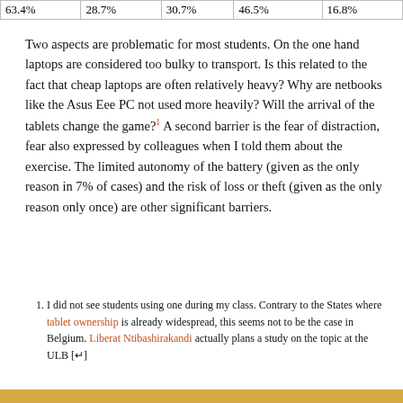| 63.4% | 28.7% | 30.7% | 46.5% | 16.8% |
Two aspects are problematic for most students. On the one hand laptops are considered too bulky to transport. Is this related to the fact that cheap laptops are often relatively heavy? Why are netbooks like the Asus Eee PC not used more heavily? Will the arrival of the tablets change the game?¹ A second barrier is the fear of distraction, fear also expressed by colleagues when I told them about the exercise. The limited autonomy of the battery (given as the only reason in 7% of cases) and the risk of loss or theft (given as the only reason only once) are other significant barriers.
I did not see students using one during my class. Contrary to the States where tablet ownership is already widespread, this seems not to be the case in Belgium. Liberat Ntibashirakandi actually plans a study on the topic at the ULB [↵]